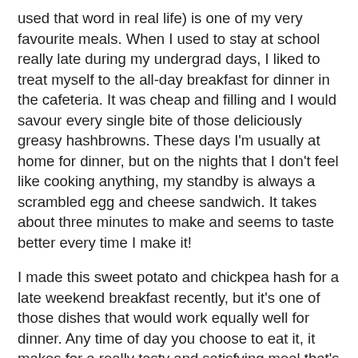used that word in real life) is one of my very favourite meals. When I used to stay at school really late during my undergrad days, I liked to treat myself to the all-day breakfast for dinner in the cafeteria. It was cheap and filling and I would savour every single bite of those deliciously greasy hashbrowns. These days I'm usually at home for dinner, but on the nights that I don't feel like cooking anything, my standby is always a scrambled egg and cheese sandwich. It takes about three minutes to make and seems to taste better every time I make it!
I made this sweet potato and chickpea hash for a late weekend breakfast recently, but it's one of those dishes that would work equally well for dinner. Any time of day you choose to eat it, it makes for a really tasty and satisfying meal that's full of veggies and protein, so it's pretty healthy too.
I topped mine with a fried egg but next time I'd probably use a poached egg because I prefer their texture (plus they're healthier!) - either way, you'll end up with a delicious runny yolk that blends in with the potatoes to make each bite taste